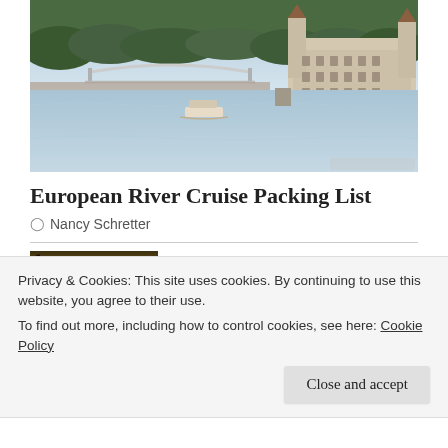[Figure (photo): Aerial view of a European river with a bridge and grand parliament-style building on the right bank, boats on the water, tree-lined banks.]
European River Cruise Packing List
Nancy Schretter
[Figure (photo): Thumbnail photo of a sunset through palm trees with golden sky and clouds.]
10 Top Travel Photography Apps For Your Next Trip
Privacy & Cookies: This site uses cookies. By continuing to use this website, you agree to their use.
To find out more, including how to control cookies, see here: Cookie Policy